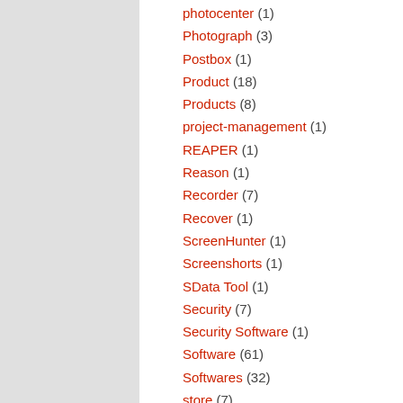photocenter (1)
Photograph (3)
Postbox (1)
Product (18)
Products (8)
project-management (1)
REAPER (1)
Reason (1)
Recorder (7)
Recover (1)
ScreenHunter (1)
Screenshorts (1)
SData Tool (1)
Security (7)
Security Software (1)
Software (61)
Softwares (32)
store (7)
support (1)
SynciOS (1)
System Cleaner (2)